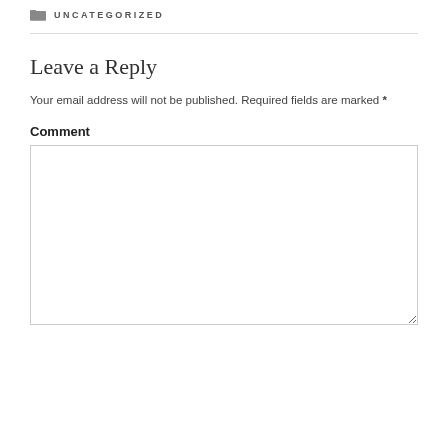UNCATEGORIZED
Leave a Reply
Your email address will not be published. Required fields are marked *
Comment